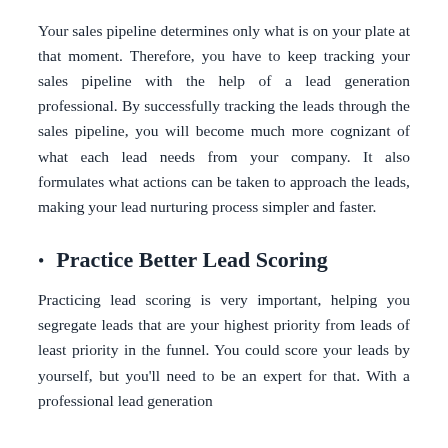Your sales pipeline determines only what is on your plate at that moment. Therefore, you have to keep tracking your sales pipeline with the help of a lead generation professional. By successfully tracking the leads through the sales pipeline, you will become much more cognizant of what each lead needs from your company. It also formulates what actions can be taken to approach the leads, making your lead nurturing process simpler and faster.
Practice Better Lead Scoring
Practicing lead scoring is very important, helping you segregate leads that are your highest priority from leads of least priority in the funnel. You could score your leads by yourself, but you'll need to be an expert for that. With a professional lead generation